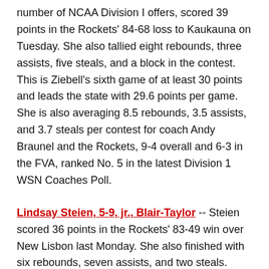number of NCAA Division I offers, scored 39 points in the Rockets' 84-68 loss to Kaukauna on Tuesday. She also tallied eight rebounds, three assists, five steals, and a block in the contest. This is Ziebell's sixth game of at least 30 points and leads the state with 29.6 points per game. She is also averaging 8.5 rebounds, 3.5 assists, and 3.7 steals per contest for coach Andy Braunel and the Rockets, 9-4 overall and 6-3 in the FVA, ranked No. 5 in the latest Division 1 WSN Coaches Poll.
Lindsay Steien, 5-9, jr., Blair-Taylor -- Steien scored 36 points in the Rockets' 83-49 win over New Lisbon last Monday. She also finished with six rebounds, seven assists, and two steals. Steien is third in the state in scoring with 27.8 points per game to go along with 7.1 rebounds, 4.8 assists, and 3.6 steals per for coach Jesse Lien and the Wildcats, 17-1 overall and 5-0...